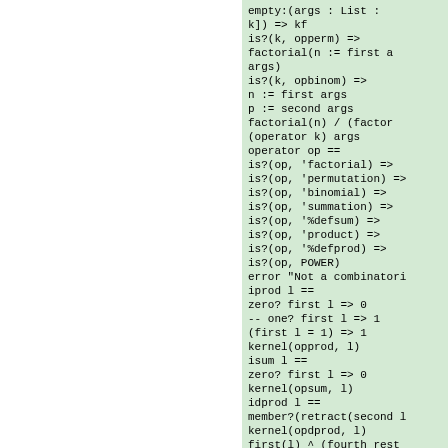[Figure (screenshot): Source code listing on green background showing functional programming code with combinatorial functions including factorial, binomial, operator, iprod, isum, idprod, idsum definitions]